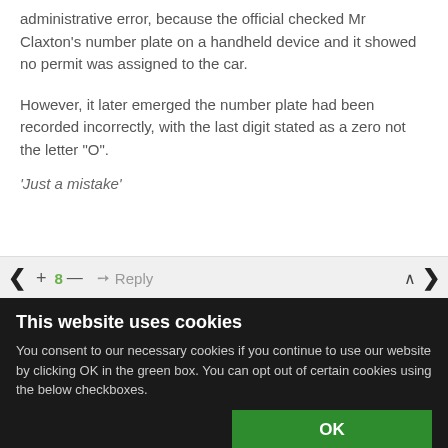administrative error, because the official checked Mr Claxton’s number plate on a handheld device and it showed no permit was assigned to the car.
However, it later emerged the number plate had been recorded incorrectly, with the last digit stated as a zero not the letter “O”.
‘Just a mistake’
+ 8 — ➜ Reply
This website uses cookies
You consent to our necessary cookies if you continue to use our website by clicking OK in the green box. You can opt out of certain cookies using the below checkboxes.
OK
Necessary  Preferences  Statistics  Marketing  Show details